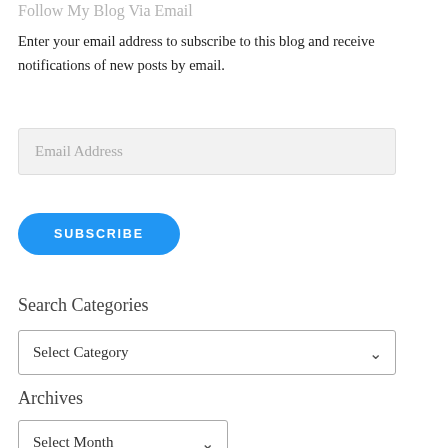Follow My Blog Via Email
Enter your email address to subscribe to this blog and receive notifications of new posts by email.
[Figure (screenshot): Email Address input field (light grey background, placeholder text 'Email Address')]
[Figure (screenshot): Blue rounded SUBSCRIBE button with white uppercase text]
Search Categories
[Figure (screenshot): Dropdown select box with placeholder 'Select Category' and a chevron arrow]
Archives
[Figure (screenshot): Dropdown select box with placeholder 'Select Month' and a chevron arrow]